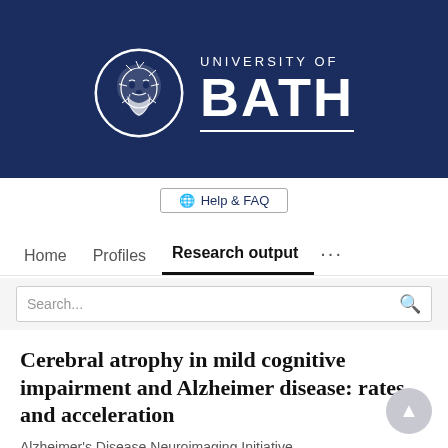[Figure (logo): University of Bath logo: circular seal with bearded face illustration on dark navy background, with text UNIVERSITY OF BATH in white]
Help & FAQ
Home   Profiles   Research output   ...
Search...
Cerebral atrophy in mild cognitive impairment and Alzheimer disease: rates and acceleration
Alzheimer's Disease Neuroimaging Initiative